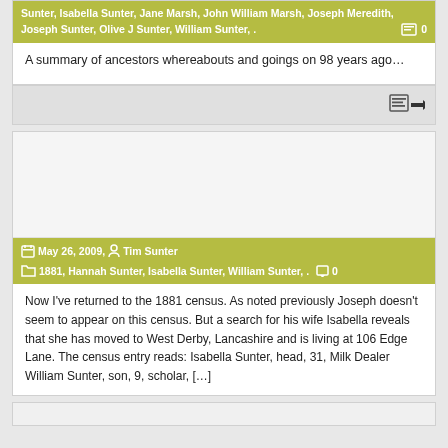Sunter, Isabella Sunter, Jane Marsh, John William Marsh, Joseph Meredith, Joseph Sunter, Olive J Sunter, William Sunter, .   0
A summary of ancestors whereabouts and goings on 98 years ago…
May 26, 2009,   Tim Sunter   1881, Hannah Sunter, Isabella Sunter, William Sunter, .   0
Now I've returned to the 1881 census.  As noted previously Joseph doesn't seem to appear on this census.  But a search for his wife Isabella reveals that she has moved to West Derby, Lancashire and is living at 106 Edge Lane. The census entry reads: Isabella Sunter, head, 31, Milk Dealer William Sunter, son, 9, scholar, […]